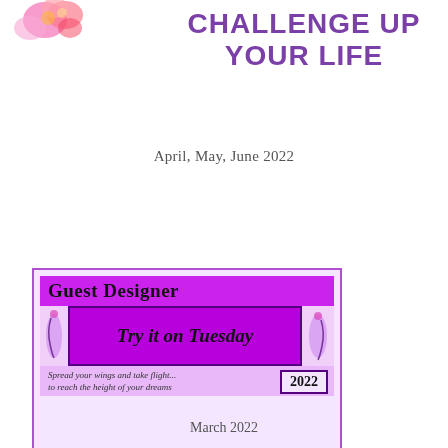[Figure (illustration): Watercolor pink and red flowers in top left corner]
CHALLENGE UP YOUR LIFE
April, May, June 2022
[Figure (other): Guest Designer badge for Try it on Tuesday 2022 with purple background]
March 2022